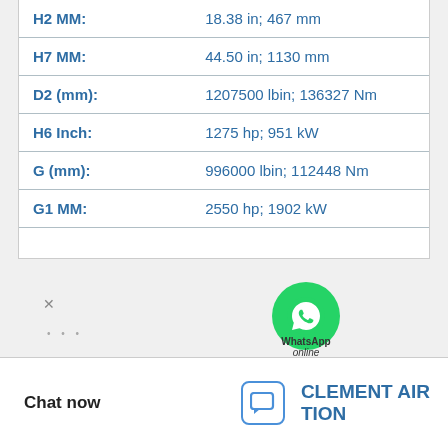| Parameter | Value |
| --- | --- |
| H2 MM: | 18.38 in; 467 mm |
| H7 MM: | 44.50 in; 1130 mm |
| D2 (mm): | 1207500 lbin; 136327 Nm |
| H6 Inch: | 1275 hp; 951 kW |
| G (mm): | 996000 lbin; 112448 Nm |
| G1 MM: | 2550 hp; 1902 kW |
[Figure (logo): WhatsApp green circle logo with phone icon and 'WhatsApp Online' label]
Chat now
CLEMENT AIR TION